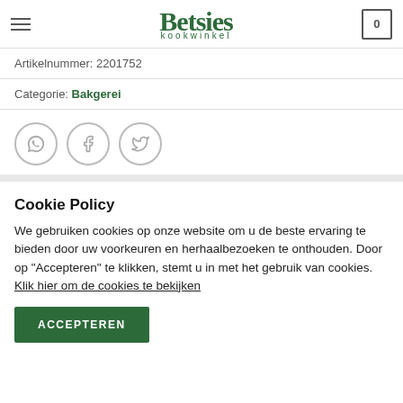Betsies kookwinkel — navigation bar with hamburger menu, logo, and cart (0)
Artikelnummer: 2201752
Categorie: Bakgerei
[Figure (other): Social share icons: WhatsApp, Facebook, Twitter]
Cookie Policy
We gebruiken cookies op onze website om u de beste ervaring te bieden door uw voorkeuren en herhaalbezoeken te onthouden. Door op "Accepteren" te klikken, stemt u in met het gebruik van cookies. Klik hier om de cookies te bekijken
ACCEPTEREN